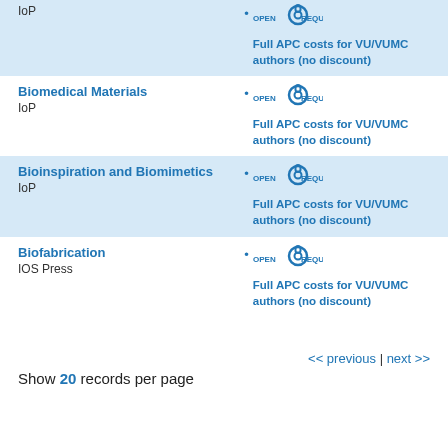IoP — Full APC costs for VU/VUMC authors (no discount)
Biomedical Materials — IoP — Full APC costs for VU/VUMC authors (no discount)
Bioinspiration and Biomimetics — IoP — Full APC costs for VU/VUMC authors (no discount)
Biofabrication — IOS Press — Full APC costs for VU/VUMC authors (no discount)
<< previous | next >>
Show 20 records per page